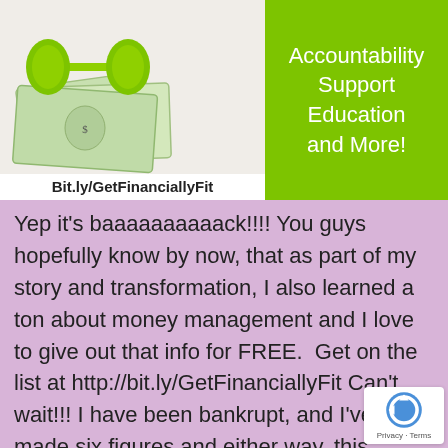[Figure (illustration): Green dumbbells resting on top of US dollar bills, with the URL 'Bit.ly/GetFinanciallyFit' displayed below in bold text on white background]
[Figure (infographic): Green banner with white text listing: '100% Online, Accountability, Support, Education, and More!']
Yep it's baaaaaaaaaack!!!! You guys hopefully know by now, that as part of my story and transformation, I also learned a ton about money management and I love to give out that info for FREE.  Get on the list at http://bit.ly/GetFinanciallyFit Can't wait!!! I have been bankrupt, and I've made six figures and either way, this… Continue reading